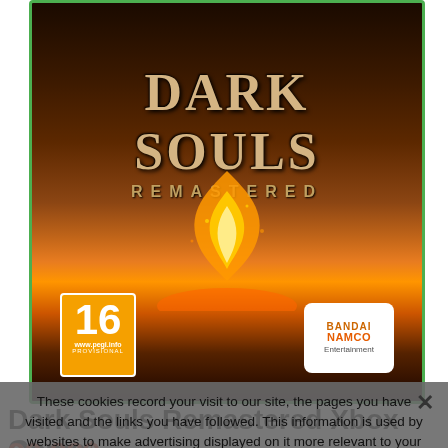[Figure (photo): Dark Souls Remastered Xbox One game box art showing armored figure with fire bonfire, PEGI 16 rating badge, Bandai Namco Entertainment logo, green Xbox border]
Dark Souls Remastered Xbox One Game
22.88$
These cookies record your visit to our site, the pages you have visited and the links you have followed. This information is used by websites to make advertising displayed on it more relevant to your interests. Cookie Policy
OK